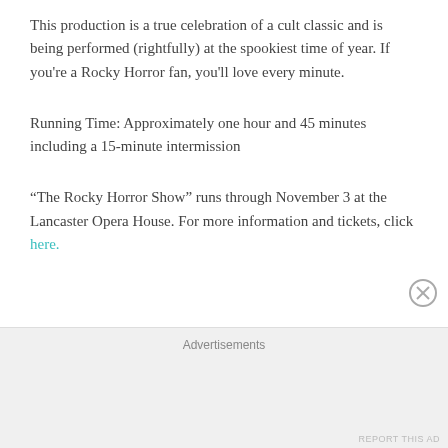This production is a true celebration of a cult classic and is being performed (rightfully) at the spookiest time of year. If you're a Rocky Horror fan, you'll love every minute.
Running Time: Approximately one hour and 45 minutes including a 15-minute intermission
“The Rocky Horror Show” runs through November 3 at the Lancaster Opera House. For more information and tickets, click here.
Advertisements